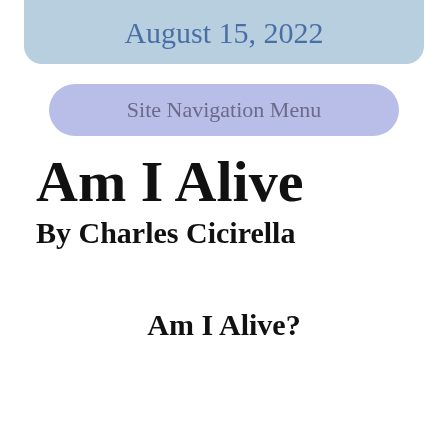August 15, 2022
Site Navigation Menu
Am I Alive
By Charles Cicirella
Am I Alive?